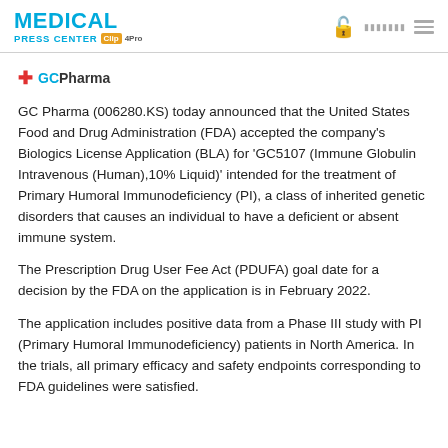MEDICAL PRESS CENTER Clip4Pro
[Figure (logo): GC Pharma logo with red cross and teal/black text]
GC Pharma (006280.KS) today announced that the United States Food and Drug Administration (FDA) accepted the company's Biologics License Application (BLA) for ‘GC5107 (Immune Globulin Intravenous (Human),10% Liquid)’ intended for the treatment of Primary Humoral Immunodeficiency (PI), a class of inherited genetic disorders that causes an individual to have a deficient or absent immune system.
The Prescription Drug User Fee Act (PDUFA) goal date for a decision by the FDA on the application is in February 2022.
The application includes positive data from a Phase III study with PI (Primary Humoral Immunodeficiency) patients in North America. In the trials, all primary efficacy and safety endpoints corresponding to FDA guidelines were satisfied.